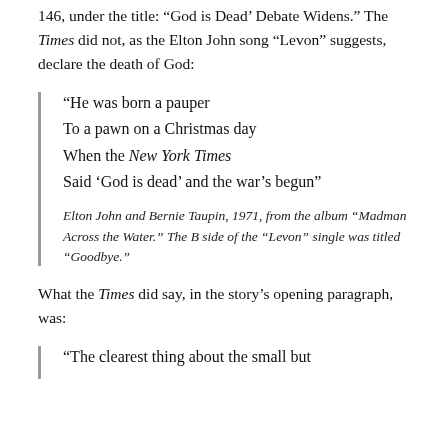146, under the title: ‘God is Dead’ Debate Widens.” The Times did not, as the Elton John song “Levon” suggests, declare the death of God:
“He was born a pauper
To a pawn on a Christmas day
When the New York Times
Said ‘God is dead’ and the war’s begun”
Elton John and Bernie Taupin, 1971, from the album “Madman Across the Water.” The B side of the “Levon” single was titled “Goodbye.”
What the Times did say, in the story’s opening paragraph, was:
“The clearest thing about the small but